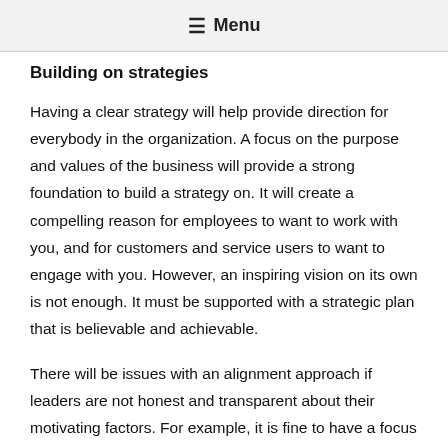≡ Menu
Building on strategies
Having a clear strategy will help provide direction for everybody in the organization. A focus on the purpose and values of the business will provide a strong foundation to build a strategy on. It will create a compelling reason for employees to want to work with you, and for customers and service users to want to engage with you. However, an inspiring vision on its own is not enough. It must be supported with a strategic plan that is believable and achievable.
There will be issues with an alignment approach if leaders are not honest and transparent about their motivating factors. For example, it is fine to have a focus on